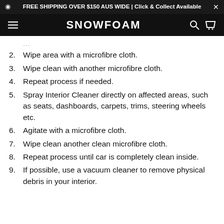FREE SHIPPING OVER $150 AUS WIDE | Click & Collect Available
SNOWFOAM
2. Wipe area with a microfibre cloth.
3. Wipe clean with another microfibre cloth.
4. Repeat process if needed.
5. Spray Interior Cleaner directly on affected areas, such as seats, dashboards, carpets, trims, steering wheels etc.
6. Agitate with a microfibre cloth.
7. Wipe clean another clean microfibre cloth.
8. Repeat process until car is completely clean inside.
9. If possible, use a vacuum cleaner to remove physical debris in your interior.